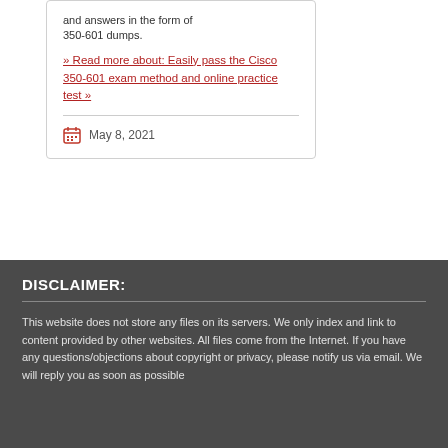and answers in the form of 350-601 dumps.
» Read more about: Easily pass the Cisco 350-601 exam method and online practice test »
May 8, 2021
DISCLAIMER:
This website does not store any files on its servers. We only index and link to content provided by other websites. All files come from the Internet. If you have any questions/objections about copyright or privacy, please notify us via email. We will reply you as soon as possible